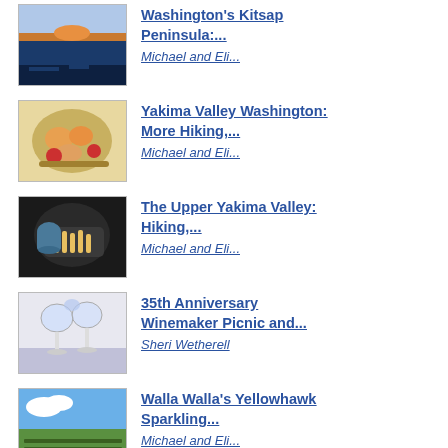Washington's Kitsap Peninsula:...
Michael and Eli...
Yakima Valley Washington: More Hiking,...
Michael and Eli...
The Upper Yakima Valley: Hiking,...
Michael and Eli...
35th Anniversary Winemaker Picnic and...
Sheri Wetherell
Walla Walla's Yellowhawk Sparkling...
Michael and Eli...
Relaxing with Sparkling...